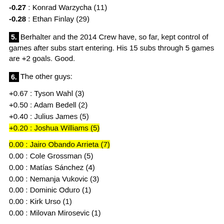-0.27 : Konrad Warzycha (11)
-0.28 : Ethan Finlay (29)
5. Berhalter and the 2014 Crew have, so far, kept control of games after subs start entering. His 15 subs through 5 games are +2 goals. Good.
6. The other guys:
+0.67 : Tyson Wahl (3)
+0.50 : Adam Bedell (2)
+0.40 : Julius James (5)
+0.20 : Joshua Williams (5)
0.00 : Jairo Obando Arrieta (7)
0.00 : Cole Grossman (5)
0.00 : Matías Sánchez (4)
0.00 : Nemanja Vukovic (3)
0.00 : Dominic Oduro (1)
0.00 : Kirk Urso (1)
0.00 : Milovan Mirosevic (1)